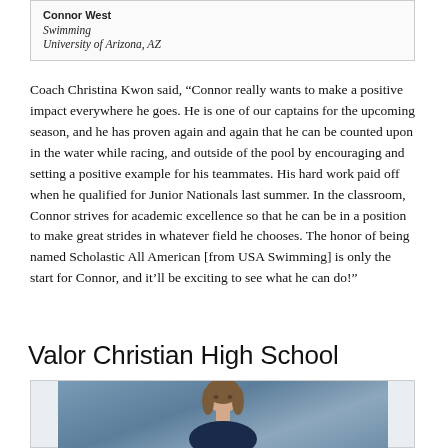| Connor West |
| Swimming |
| University of Arizona, AZ |
Coach Christina Kwon said, “Connor really wants to make a positive impact everywhere he goes. He is one of our captains for the upcoming season, and he has proven again and again that he can be counted upon in the water while racing, and outside of the pool by encouraging and setting a positive example for his teammates. His hard work paid off when he qualified for Junior Nationals last summer. In the classroom, Connor strives for academic excellence so that he can be in a position to make great strides in whatever field he chooses. The honor of being named Scholastic All American [from USA Swimming] is only the start for Connor, and it’ll be exciting to see what he can do!”
Valor Christian High School
[Figure (photo): Portrait photo of a young woman with brown hair against a blue-grey background]